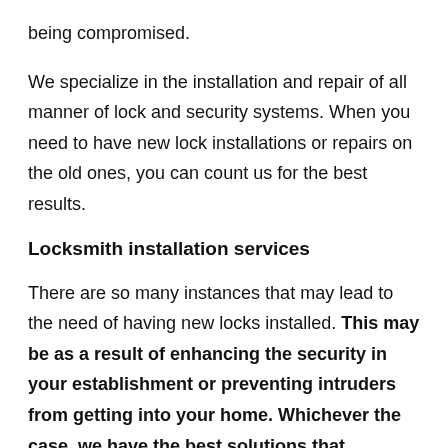being compromised.
We specialize in the installation and repair of all manner of lock and security systems. When you need to have new lock installations or repairs on the old ones, you can count us for the best results.
Locksmith installation services
There are so many instances that may lead to the need of having new locks installed. This may be as a result of enhancing the security in your establishment or preventing intruders from getting into your home. Whichever the case, we have the best solutions that